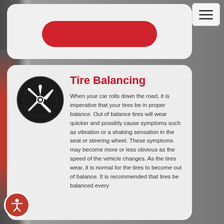[Figure (screenshot): Navigation hamburger menu button in top right corner]
[Figure (illustration): Gray card with red oval/pill button in center]
[Figure (illustration): Black tire/wheel icon]
Tire Balancing
When your car rolls down the road, it is imperative that your tires be in proper balance. Out of balance tires will wear quicker and possibly cause symptoms such as vibration or a shaking sensation in the seat or steering wheel. These symptoms may become more or less obvious as the speed of the vehicle changes. As the tires wear, it is normal for the tires to become out of balance. It is recommended that tires be balanced every
[Figure (illustration): Red accessibility icon button in bottom left corner]